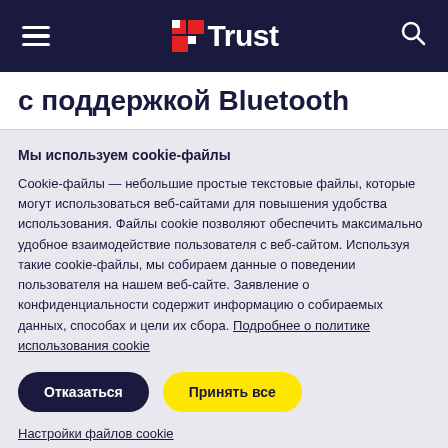Trust — navigation header with hamburger menu, Trust logo, and search icon
с поддержкой Bluetooth
Мы используем cookie-файлы
Cookie-файлы — небольшие простые текстовые файлы, которые могут использоваться веб-сайтами для повышения удобства использования. Файлы cookie позволяют обеспечить максимально удобное взаимодействие пользователя с веб-сайтом. Используя такие cookie-файлы, мы собираем данные о поведении пользователя на нашем веб-сайте. Заявление о конфиденциальности содержит информацию о собираемых данных, способах и цели их сбора. Подробнее о политике использования cookie
Отказаться | Принять все
Настройки файлов cookie